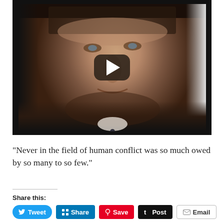[Figure (photo): A black-and-white-tinted portrait photo of a statesman (Churchill-like figure) with a stern expression, wearing a suit and bow tie, with a YouTube-style play button overlay in the center of the image.]
“Never in the field of human conflict was so much owed by so many to so few.”
Share this:
Tweet  Share  Save  Post  Email